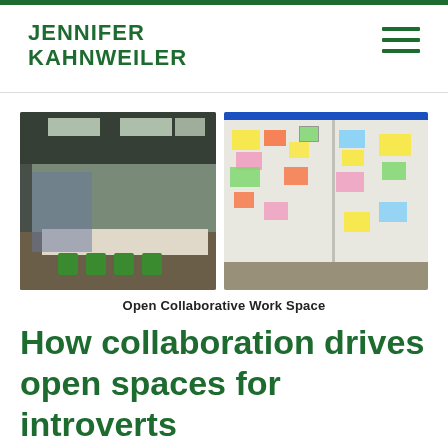JENNIFER KAHNWEILER
[Figure (photo): Two photos side by side: left photo shows an open collaborative office space with tables, green chairs, and ceiling lights; right photo shows large whiteboards covered with colorful sticky notes and papers.]
Open Collaborative Work Space
How collaboration drives open spaces for introverts